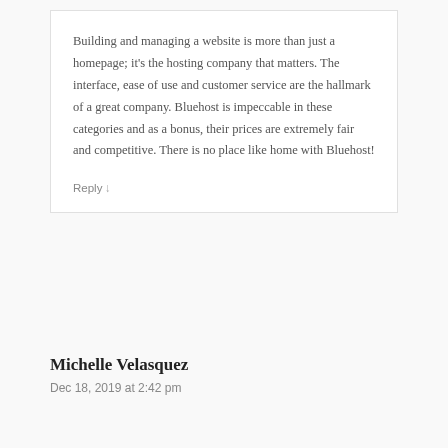Building and managing a website is more than just a homepage; it's the hosting company that matters. The interface, ease of use and customer service are the hallmark of a great company. Bluehost is impeccable in these categories and as a bonus, their prices are extremely fair and competitive. There is no place like home with Bluehost!
Reply ↓
Michelle Velasquez
Dec 18, 2019 at 2:42 pm